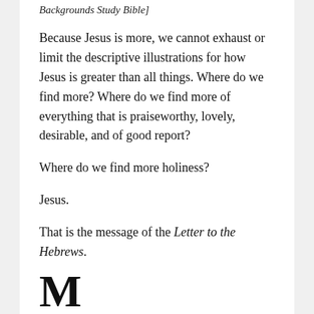Backgrounds Study Bible]
Because Jesus is more, we cannot exhaust or limit the descriptive illustrations for how Jesus is greater than all things. Where do we find more? Where do we find more of everything that is praiseworthy, lovely, desirable, and of good report?
Where do we find more holiness?
Jesus.
That is the message of the Letter to the Hebrews.
M